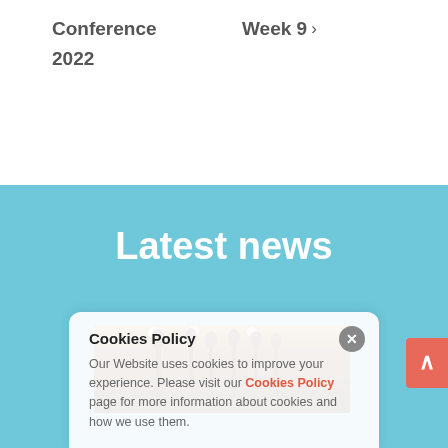Conference 2022    Week 9 >
Latest news
[Figure (photo): Dark silhouette image of microphones or standing objects backlit by warm light]
Cookies Policy
Our Website uses cookies to improve your experience. Please visit our Cookies Policy page for more information about cookies and how we use them.